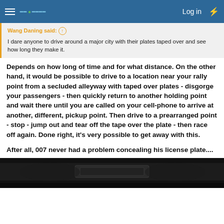Log in
Wang Daning said: ↑
I dare anyone to drive around a major city with their plates taped over and see how long they make it.
Depends on how long of time and for what distance. On the other hand, it would be possible to drive to a location near your rally point from a secluded alleyway with taped over plates - disgorge your passengers - then quickly return to another holding point and wait there until you are called on your cell-phone to arrive at another, different, pickup point. Then drive to a prearranged point - stop - jump out and tear off the tape over the plate - then race off again. Done right, it's very possible to get away with this.
After all, 007 never had a problem concealing his license plate....
[Figure (photo): Dark/grayscale photo of a car license plate area]